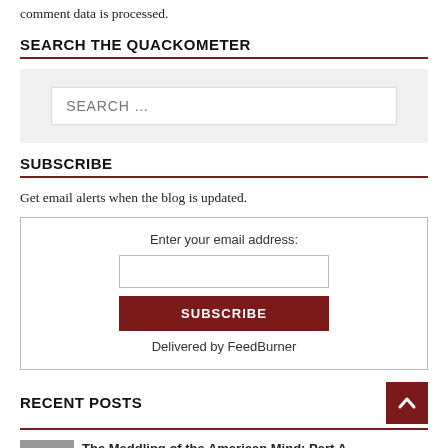comment data is processed.
SEARCH THE QUACKOMETER
[Figure (other): Search input box with placeholder text 'SEARCH ...' on a light grey background]
SUBSCRIBE
Get email alerts when the blog is updated.
[Figure (other): FeedBurner email subscription widget with email input field, SUBSCRIBE button, and 'Delivered by FeedBurner' text]
RECENT POSTS
The Meddling of the American Mind: Part A...